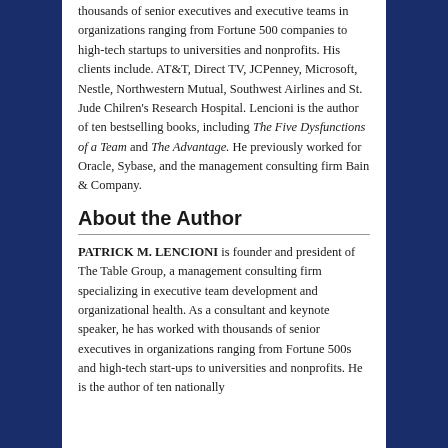thousands of senior executives and executive teams in organizations ranging from Fortune 500 companies to high-tech startups to universities and nonprofits. His clients include. AT&T, Direct TV, JCPenney, Microsoft, Nestle, Northwestern Mutual, Southwest Airlines and St. Jude Chilren's Research Hospital. Lencioni is the author of ten bestselling books, including The Five Dysfunctions of a Team and The Advantage. He previously worked for Oracle, Sybase, and the management consulting firm Bain & Company.
About the Author
PATRICK M. LENCIONI is founder and president of The Table Group, a management consulting firm specializing in executive team development and organizational health. As a consultant and keynote speaker, he has worked with thousands of senior executives in organizations ranging from Fortune 500s and high-tech start-ups to universities and nonprofits. He is the author of ten nationally